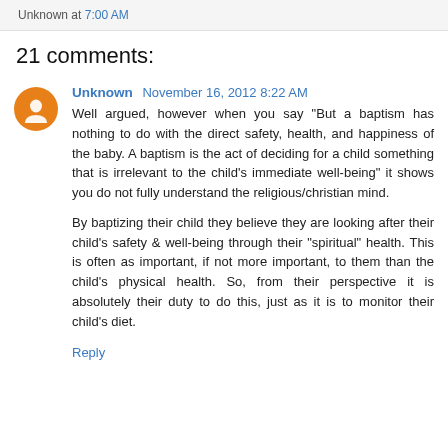Unknown at 7:00 AM
21 comments:
Unknown November 16, 2012 8:22 AM
Well argued, however when you say "But a baptism has nothing to do with the direct safety, health, and happiness of the baby. A baptism is the act of deciding for a child something that is irrelevant to the child's immediate well-being" it shows you do not fully understand the religious/christian mind.

By baptizing their child they believe they are looking after their child's safety & well-being through their "spiritual" health. This is often as important, if not more important, to them than the child's physical health. So, from their perspective it is absolutely their duty to do this, just as it is to monitor their child's diet.
Reply